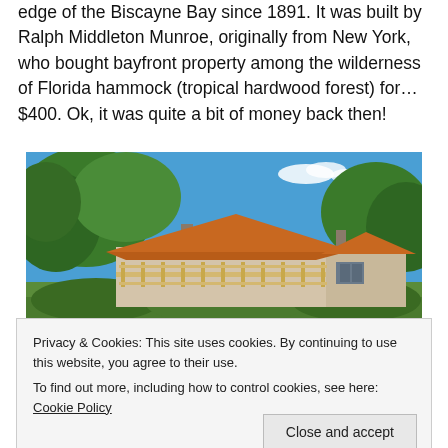edge of the Biscayne Bay since 1891. It was built by Ralph Middleton Munroe, originally from New York, who bought bayfront property among the wilderness of Florida hammock (tropical hardwood forest) for… $400. Ok, it was quite a bit of money back then!
[Figure (photo): Exterior photo of a historic house with an orange/terracotta hip roof, wraparound porch with decorative railings, surrounded by lush tropical trees, under a blue sky with white clouds.]
Privacy & Cookies: This site uses cookies. By continuing to use this website, you agree to their use.
To find out more, including how to control cookies, see here: Cookie Policy